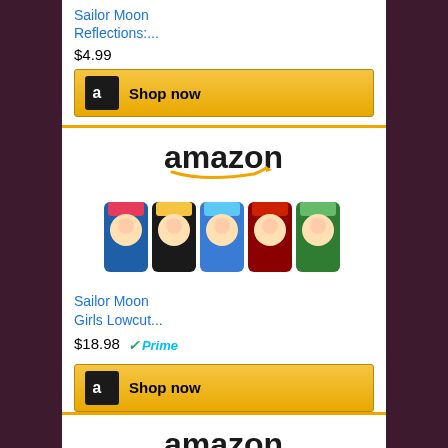Sailor Moon Reflections:...
$4.99
[Figure (logo): Amazon Shop now button with black Amazon icon on gold background]
[Figure (logo): Amazon logo with orange arrow]
[Figure (photo): Sailor Moon Girls Lowcut ankle socks, 5 pairs shown in a row with anime characters]
Sailor Moon Girls Lowcut...
$18.98
Prime
[Figure (logo): Amazon Shop now button with black Amazon icon on gold background]
[Figure (logo): Amazon logo with orange arrow]
[Figure (photo): Sailor Moon themed socks, 5 pairs shown in a row]